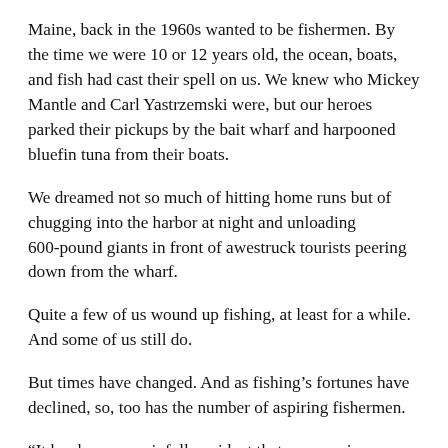Maine, back in the 1960s wanted to be fishermen. By the time we were 10 or 12 years old, the ocean, boats, and fish had cast their spell on us. We knew who Mickey Mantle and Carl Yastrzemski were, but our heroes parked their pickups by the bait wharf and harpooned bluefin tuna from their boats.
We dreamed not so much of hitting home runs but of chugging into the harbor at night and unloading 600-pound giants in front of awestruck tourists peering down from the wharf.
Quite a few of us wound up fishing, at least for a while. And some of us still do.
But times have changed. And as fishing’s fortunes have declined, so, too has the number of aspiring fishermen.
“It has become painfully evident that our area is suffering from the ‘graying of the fleet,’” says Andrea Tomlinson, founder and executive director of the nascent, New